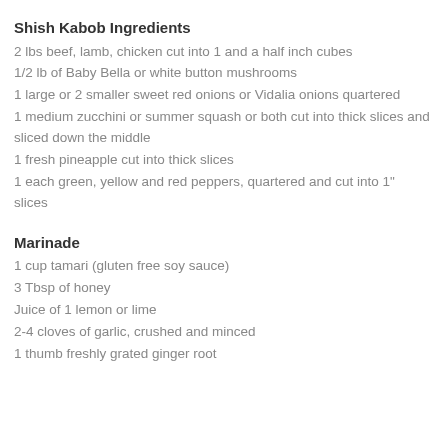Shish Kabob Ingredients
2 lbs beef, lamb, chicken cut into 1 and a half inch cubes
1/2 lb of Baby Bella or white button mushrooms
1 large or 2 smaller sweet red onions or Vidalia onions quartered
1 medium zucchini or summer squash or both cut into thick slices and sliced down the middle
1 fresh pineapple cut into thick slices
1 each green, yellow and red peppers, quartered and cut into 1" slices
Marinade
1 cup tamari (gluten free soy sauce)
3 Tbsp of honey
Juice of 1 lemon or lime
2-4 cloves of garlic, crushed and minced
1 thumb freshly grated ginger root